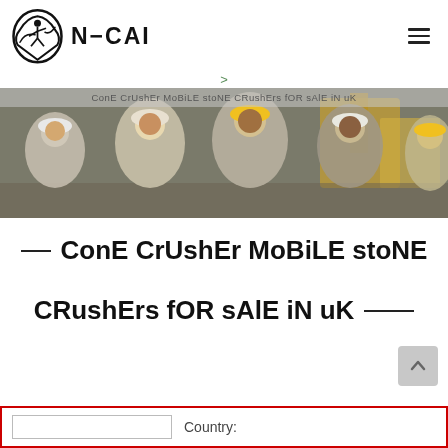[Figure (logo): N-CAI company logo with stylized figure and shield emblem, text reads N-CAI]
>
[Figure (photo): Banner photo showing group of construction workers wearing hard hats (white and yellow), smiling, with construction equipment in background. Overlay text: ConE CrUshEr MoBiLE stoNE CRushErs fOR sAlE iN uK]
ConE CrUshEr MoBiLE stoNE CRushErs fOR sAlE iN uK
Country: